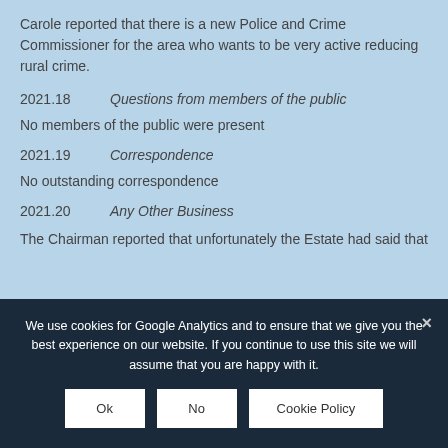Carole reported that there is a new Police and Crime Commissioner for the area who wants to be very active reducing rural crime.
2021.18   Questions from members of the public
No members of the public were present
2021.19   Correspondence
No outstanding correspondence
2021.20   Any Other Business
The Chairman reported that unfortunately the Estate had said that
We use cookies for Google Analytics and to ensure that we give you the best experience on our website. If you continue to use this site we will assume that you are happy with it.